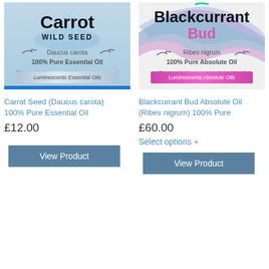[Figure (illustration): Carrot Wild Seed product image with water splash background, Luminescents Essential Oils banner, blue bar at bottom]
[Figure (illustration): Blackcurrant Bud product image with colorful ribbon background, Luminescents Absolute Oils pink banner]
Carrot Seed (Daucus carota) 100% Pure Essential Oil
Blackcurrant Bud Absolute Oil (Ribes nigrum) 100% Pure
£12.00
£60.00
Select options +
View Product
View Product